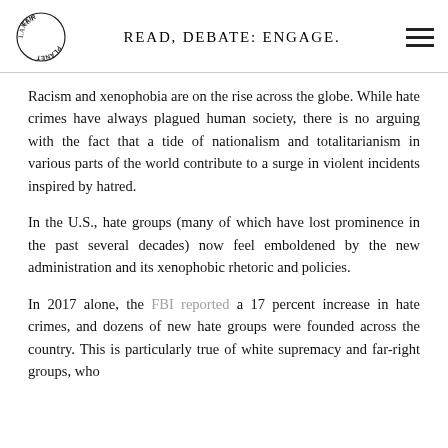READ, DEBATE: ENGAGE.
Racism and xenophobia are on the rise across the globe. While hate crimes have always plagued human society, there is no arguing with the fact that a tide of nationalism and totalitarianism in various parts of the world contribute to a surge in violent incidents inspired by hatred.
In the U.S., hate groups (many of which have lost prominence in the past several decades) now feel emboldened by the new administration and its xenophobic rhetoric and policies.
In 2017 alone, the FBI reported a 17 percent increase in hate crimes, and dozens of new hate groups were founded across the country. This is particularly true of white supremacy and far-right groups, who